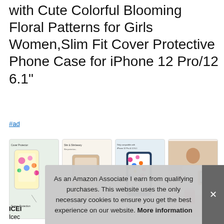with Cute Colorful Blooming Floral Patterns for Girls Women,Slim Fit Cover Protective Phone Case for iPhone 12 Pro/12 6.1"
#ad
[Figure (photo): Four product thumbnail images showing a floral phone case: 1) case with screen protector graphic, 2) case rendering with text, 3) case compatibility text with phone image, 4) woman holding phone]
ICEI
Icec
designs. Raised bezels see them fit screen and camera on flat
As an Amazon Associate I earn from qualifying purchases. This website uses the only necessary cookies to ensure you get the best experience on our website. More information